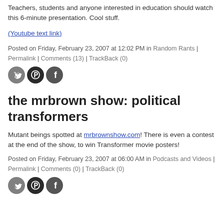Teachers, students and anyone interested in education should watch this 6-minute presentation. Cool stuff.
(Youtube text link)
Posted on Friday, February 23, 2007 at 12:02 PM in Random Rants | Permalink | Comments (13) | TrackBack (0)
[Figure (other): Three social sharing icon circles: Twitter (bird), Pinterest (P), Facebook (f)]
the mrbrown show: political transformers
Mutant beings spotted at mrbrownshow.com! There is even a contest at the end of the show, to win Transformer movie posters!
Posted on Friday, February 23, 2007 at 06:00 AM in Podcasts and Videos | Permalink | Comments (0) | TrackBack (0)
[Figure (other): Three social sharing icon circles: Twitter (bird), Pinterest (P), Facebook (f)]